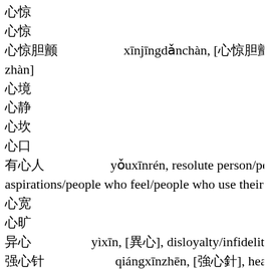心惊
心惊
心惊胆颤        xīnjīngdǎnchàn, [心惊胆颤], see 心惊胆战|心惊胆战[xīn jīng dǎn zhàn]
心境
心静
心坎
心口
有心人        yǒuxīnrén, resolute person/person with aspirations/people who feel/people who use their hea
心宽
心旷
异心        yìxīn, [異心], disloyalty/infidelity
强心针        qiángxīnzhēn, [強心針], heart-strengthening shot/shot in the arm
心目
信心百倍        xìnxīnbǎibèi, brimming with confidence (id